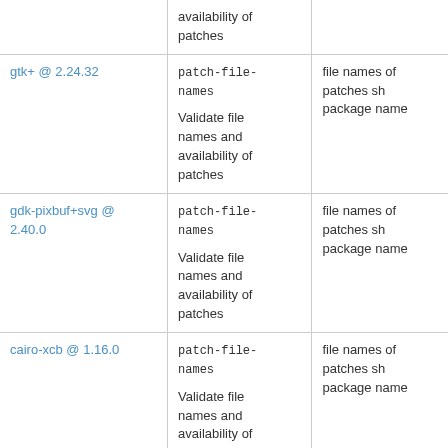| Package | Field | Description |
| --- | --- | --- |
|  | patch-file-names
Validate file names and availability of patches | file names of patches sh... package name |
| gtk+ @ 2.24.32 | patch-file-names
Validate file names and availability of patches | file names of patches sh... package name |
| gdk-pixbuf+svg @ 2.40.0 | patch-file-names
Validate file names and availability of patches | file names of patches sh... package name |
| cairo-xcb @ 1.16.0 | patch-file-names
Validate file names and availability of patches | file names of patches sh... package name |